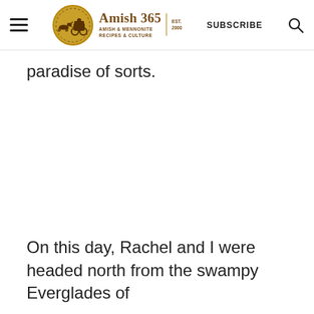Amish 365 | AMISH & MENNONITE RECIPES & CULTURE | EST. 2000 | SUBSCRIBE
paradise of sorts.
[Figure (other): Large blank/white image placeholder area in the middle of the page]
On this day, Rachel and I were headed north from the swampy Everglades of